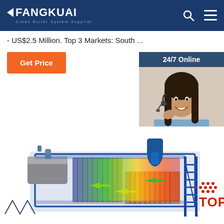FANGKUAI - Clean Boiler System Supplier
- US$2.5 Million. Top 3 Markets: South ...
Get Price
24/7 Online
[Figure (photo): Customer service agent woman wearing headset, smiling]
Click here for free chat !
QUOTATION
[Figure (engineering-diagram): 3D cutaway rendering of an industrial chain grate boiler showing internal heat exchanger tubes, combustion chamber with colorized CFD flow visualization (blue outer casing, orange/yellow heat distribution, green/yellow arrows showing flow direction), with scaffolding/stairs on the right side and TOP badge overlay]